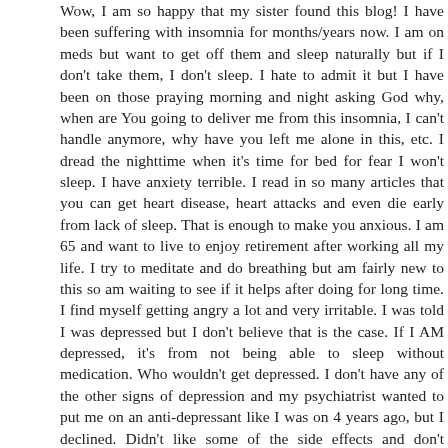Wow, I am so happy that my sister found this blog! I have been suffering with insomnia for months/years now. I am on meds but want to get off them and sleep naturally but if I don't take them, I don't sleep. I hate to admit it but I have been on those praying morning and night asking God why, when are You going to deliver me from this insomnia, I can't handle anymore, why have you left me alone in this, etc. I dread the nighttime when it's time for bed for fear I won't sleep. I have anxiety terrible. I read in so many articles that you can get heart disease, heart attacks and even die early from lack of sleep. That is enough to make you anxious. I am 65 and want to live to enjoy retirement after working all my life. I try to meditate and do breathing but am fairly new to this so am waiting to see if it helps after doing for long time. I find myself getting angry a lot and very irritable. I was told I was depressed but I don't believe that is the case. If I AM depressed, it's from not being able to sleep without medication. Who wouldn't get depressed. I don't have any of the other signs of depression and my psychiatrist wanted to put me on an anti-depressant like I was on 4 years ago, but I declined. Didn't like some of the side effects and don't believe depression is the culprit now.